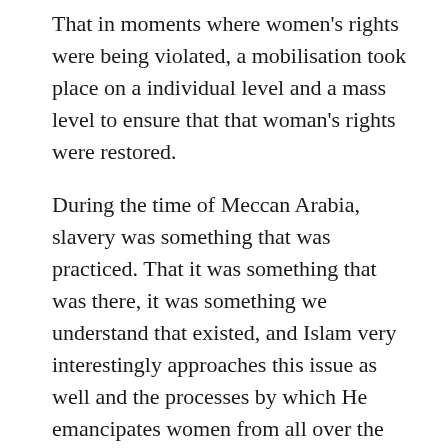That in moments where women's rights were being violated, a mobilisation took place on a individual level and a mass level to ensure that that woman's rights were restored.
During the time of Meccan Arabia, slavery was something that was practiced. That it was something that was there, it was something we understand that existed, and Islam very interestingly approaches this issue as well and the processes by which He emancipates women from all over the world.
And so we have the situation in our tradition where there are two women. A woman by the name of Zunaira and a woman by the name of Lubaina. Zunaira is a woman who was the slave of a man by the name of Abu Jahul and it's said that Abu Jahul used to beat her so hard that she actually lost her